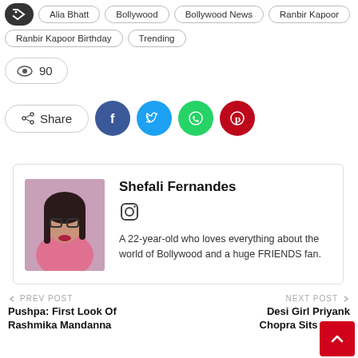Alia Bhatt
Bollywood
Bollywood News
Ranbir Kapoor
Ranbir Kapoor Birthday
Trending
90
Share
Shefali Fernandes
A 22-year-old who loves everything about the world of Bollywood and a huge FRIENDS fan.
PREV POST
Pushpa: First Look Of Rashmika Mandanna
NEXT POST
Desi Girl Priyanka Chopra Sits Cross